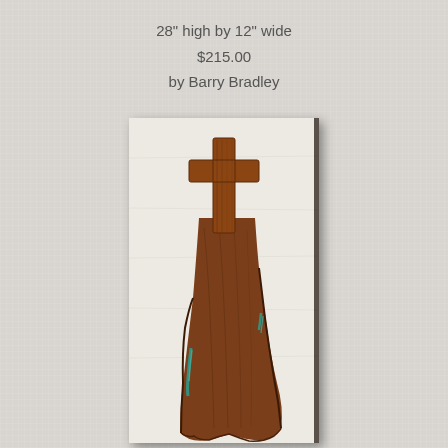28" high by 12" wide
$215.00
by Barry Bradley
[Figure (photo): A wooden cross carved from a natural live-edge slab of wood with turquoise inlay, mounted on a white/cream textured wall background. The cross shape is carved into the top of a rustic walnut or cedar slab with organic edges and visible wood grain.]